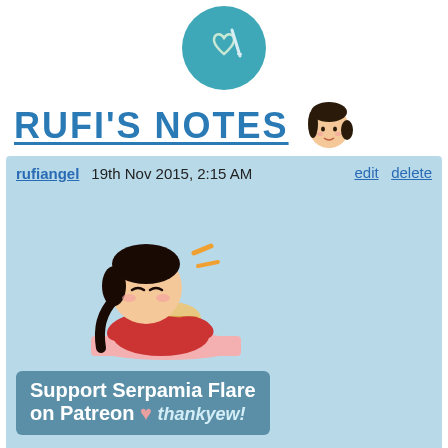[Figure (logo): Circular teal logo with a heart and syringe/thermometer inside, partial view at top]
RUFI'S NOTES
[Figure (illustration): Cartoon character with dark hair eating/biting into something enthusiastically, wearing a red top]
[Figure (infographic): Support Serpamia Flare on Patreon heart thankyew! banner in teal/blue color]
rufiangel   19th Nov 2015, 2:15 AM    edit delete
Once again, I apologise for continually dropping the ball on updates while I've been here, and I also apologise for the dead air since Monday - I especially am